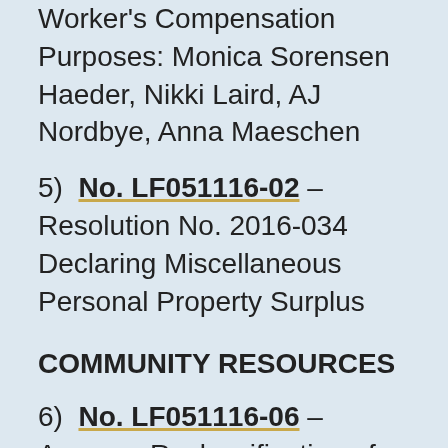Worker's Compensation Purposes: Monica Sorensen Haeder, Nikki Laird, AJ Nordbye, Anna Maeschen
5) No. LF051116-02 – Resolution No. 2016-034 Declaring Miscellaneous Personal Property Surplus
COMMUNITY RESOURCES
6) No. LF051116-06 – Approve Reclassification of Rapid Transit Manager
7) No. LF051116-07 – Resolution No. 2016-035 to Amend the City of Rapid City Compensation Plan by Establishing the New Position of Code Enforcement Division Supervisor with the...